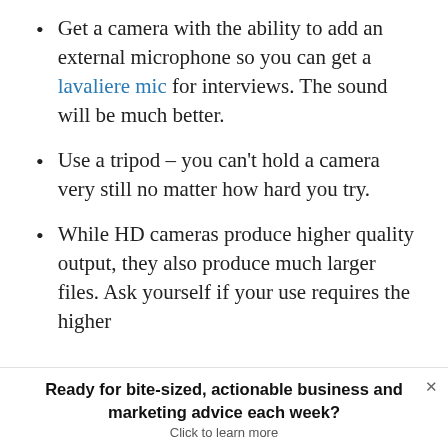Get a camera with the ability to add an external microphone so you can get a lavaliere mic for interviews. The sound will be much better.
Use a tripod – you can't hold a camera very still no matter how hard you try.
While HD cameras produce higher quality output, they also produce much larger files. Ask yourself if your use requires the higher
Ready for bite-sized, actionable business and marketing advice each week? Click to learn more